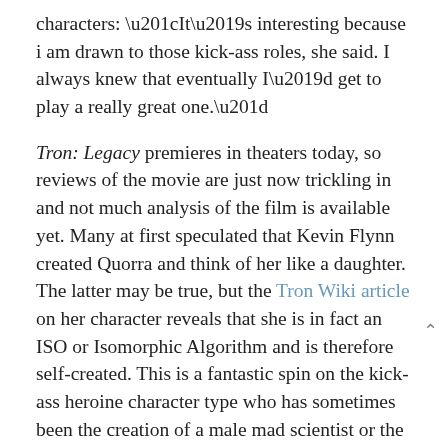characters: “It’s interesting because i am drawn to those kick-ass roles, she said. I always knew that eventually I’d get to play a really great one.”
Tron: Legacy premieres in theaters today, so reviews of the movie are just now trickling in and not much analysis of the film is available yet. Many at first speculated that Kevin Flynn created Quorra and think of her like a daughter. The latter may be true, but the Tron Wiki article on her character reveals that she is in fact an ISO or Isomorphic Algorithm and is therefore self-created. This is a fantastic spin on the kick-ass heroine character type who has sometimes been the creation of a male mad scientist or the daughter of a god — either way she often owes her existence to a man. Not so with Quorra, at least not any more than any other program in Tron, since the entire program was created by Kevin